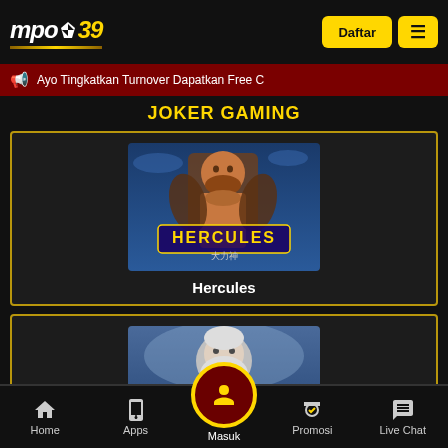[Figure (logo): mpo39 logo with spade symbol, yellow and white text on black background]
Daftar
≡
Ayo Tingkatkan Turnover Dapatkan Free C
JOKER GAMING
[Figure (illustration): Hercules game card showing a muscular figure with the text HERCULES and Chinese characters]
Hercules
[Figure (illustration): Second game card showing a god-like figure, partially visible]
Home
Apps
Masuk
Promosi
Live Chat